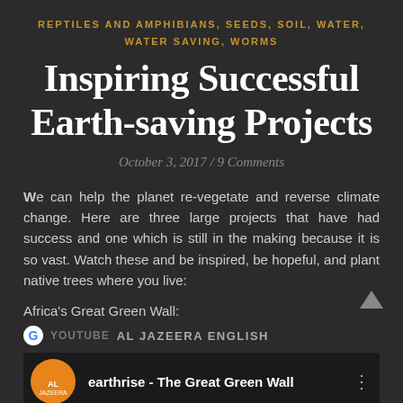REPTILES AND AMPHIBIANS, SEEDS, SOIL, WATER, WATER SAVING, WORMS
Inspiring Successful Earth-saving Projects
October 3, 2017 / 9 Comments
We can help the planet re-vegetate and reverse climate change. Here are three large projects that have had success and one which is still in the making because it is so vast. Watch these and be inspired, be hopeful, and plant native trees where you live:
Africa's Great Green Wall:
[Figure (screenshot): YouTube video embed showing Al Jazeera English video titled 'earthrise - The Great Green Wall' with Al Jazeera orange logo]